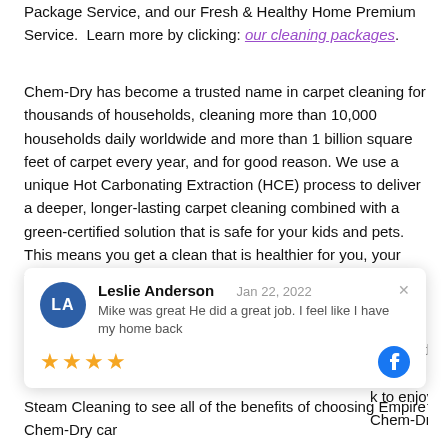Package Service, and our Fresh & Healthy Home Premium Service.  Learn more by clicking: our cleaning packages.
Chem-Dry has become a trusted name in carpet cleaning for thousands of households, cleaning more than 10,000 households daily worldwide and more than 1 billion square feet of carpet every year, and for good reason. We use a unique Hot Carbonating Extraction (HCE) process to deliver a deeper, longer-lasting carpet cleaning combined with a green-certified solution that is safe for your kids and pets. This means you get a clean that is healthier for you, your family and your home. Our carpet cleaning services are:
s water than n hours, not days. k to enjoying Chem-Dry vs Steam Cleaning to see all of the benefits of choosing Empire Chem-Dry carpet cleaning.
Leslie Anderson   Jan 22, 2022
Mike was great He did a great job. I feel like I have my home back
★★★★